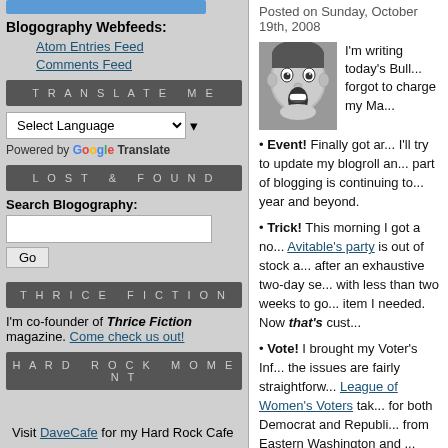Blogography Webfeeds:
Atom Entries Feed
Comments Feed
TRANSLATE ME
Select Language (dropdown)
Powered by Google Translate
LOST & FOUND
Search Blogography:
(search input and Go button)
THRICE FICTION
I'm co-founder of Thrice Fiction magazine. Come check us out!
HARD ROCK MOMENT
Visit DaveCafe for my Hard Rock Cafe
Posted on Sunday, October 19th, 2008
[Figure (photo): Black and white photo of a person with an open-mouthed expression of shock or surprise]
I'm writing today's Bull... forgot to charge my Ma...
• Event! Finally got ar... I'll try to update my blogroll an... part of blogging is continuing to... year and beyond.
• Trick! This morning I got a no... Avitable's party is out of stock a... after an exhaustive two-day se... with less than two weeks to go... item I needed. Now that's cust...
• Vote! I brought my Voter's Inf... the issues are fairly straightforw... League of Women's Voters tak... for both Democrat and Republi... from Eastern Washington and ... tend to focus on Seattle's prob... fool the area where I live is w...